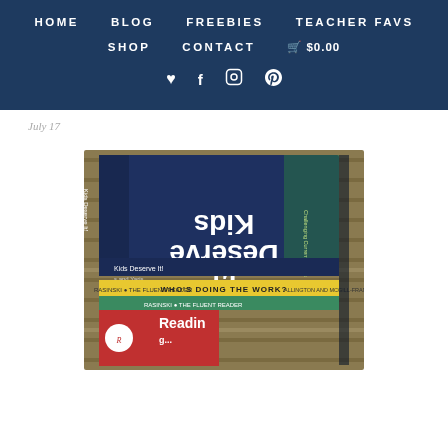HOME  BLOG  FREEBIES  TEACHER FAVS  SHOP  CONTACT  $0.00
July 17
[Figure (photo): Stack of education/teacher books including 'Kids Deserve It!', 'Who's Doing the Work?', 'The Fluent Reader' by Rasinski, and 'Reading...' books stacked on a surface, viewed from an angle.]